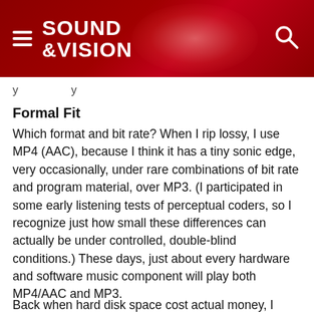SOUND &VISION
y...y
Formal Fit
Which format and bit rate? When I rip lossy, I use MP4 (AAC), because I think it has a tiny sonic edge, very occasionally, under rare combinations of bit rate and program material, over MP3. (I participated in some early listening tests of perceptual coders, so I recognize just how small these differences can actually be under controlled, double-blind conditions.) These days, just about every hardware and software music component will play both MP4/AAC and MP3.
Back when hard disk space cost actual money, I